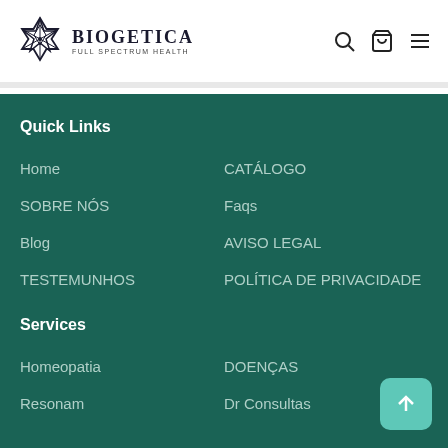BIOGETICA FULL SPECTRUM HEALTH
Quick Links
Home
CATÁLOGO
SOBRE NÓS
Faqs
Blog
AVISO LEGAL
TESTEMUNHOS
POLÍTICA DE PRIVACIDADE
Services
Homeopatia
DOENÇAS
Resonam
Dr Consultas